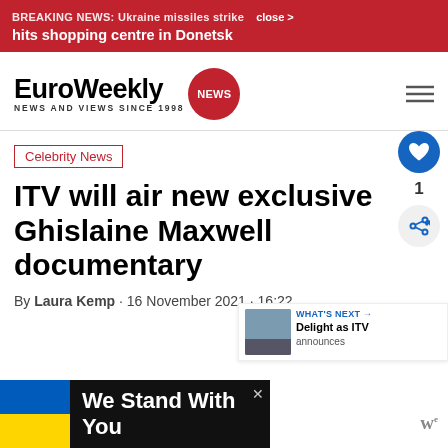BREAKING NEWS: Ukraine missiles strike — close … hits shopping centre in Donetsk
[Figure (logo): EuroWeekly News logo with red circle badge]
Celebrity News
ITV will air new exclusive Ghislaine Maxwell documentary
By Laura Kemp · 16 November 2021 · 16:22
[Figure (infographic): What's Next widget showing Delight as ITV announces...]
[Figure (infographic): We Stand With You ad with Ukrainian flag colors]